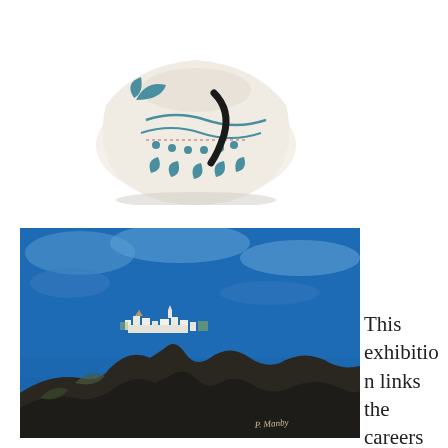[Figure (photo): A white ceramic vase or vessel decorated with teal/blue abstract bird and dot motifs and a black curved element, photographed against a white background.]
[Figure (photo): A painting depicting a Mediterranean hillside town in whites and pastels perched on dark rocky cliffs above a vivid blue sea and sky. Signed in lower right corner.]
This exhibition links the careers of two major 20th-